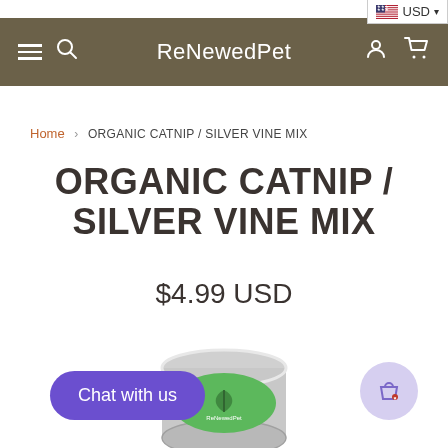USD
ReNewedPet
Home > ORGANIC CATNIP / SILVER VINE MIX
ORGANIC CATNIP / SILVER VINE MIX
$4.99 USD
[Figure (photo): Tin container of organic catnip / silver vine mix product with green label]
Chat with us